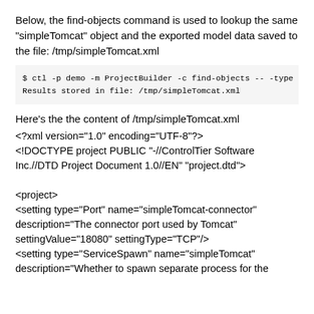Below, the find-objects command is used to lookup the same "simpleTomcat" object and the exported model data saved to the file: /tmp/simpleTomcat.xml
$ ctl -p demo -m ProjectBuilder -c find-objects -- -type
Results stored in file: /tmp/simpleTomcat.xml
Here's the the content of /tmp/simpleTomcat.xml
<?xml version="1.0" encoding="UTF-8"?>
<!DOCTYPE project PUBLIC "-//ControlTier Software Inc.//DTD Project Document 1.0//EN" "project.dtd">

<project>
<setting type="Port" name="simpleTomcat-connector" description="The connector port used by Tomcat" settingValue="18080" settingType="TCP"/>
<setting type="ServiceSpawn" name="simpleTomcat" description="Whether to spawn separate process for the